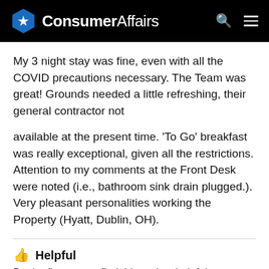ConsumerAffairs
My 3 night stay was fine, even with all the COVID precautions necessary. The Team was great! Grounds needed a little refreshing, their general contractor not
available at the present time. 'To Go' breakfast was really exceptional, given all the restrictions. Attention to my comments at the Front Desk were noted (i.e., bathroom sink drain plugged.). Very pleasant personalities working the Property (Hyatt, Dublin, OH).
Helpful
Be the first one to find this review helpful